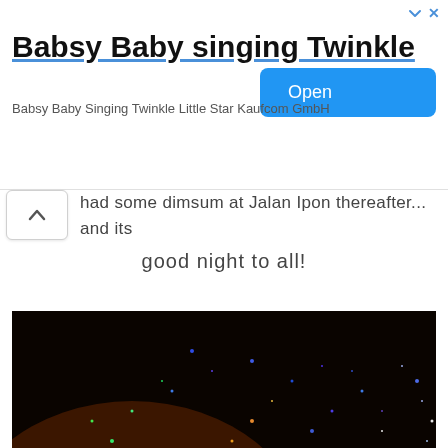[Figure (screenshot): Ad banner for 'Babsy Baby singing Twinkle' app with title, subtitle 'Babsy Baby Singing Twinkle Little Star Kaufcom GmbH', and blue Open button]
had some dimsum at Jalan Ipon thereafter... and its good night to all!
[Figure (photo): Dark nighttime photo showing colorful confetti or sparkles scattered across the frame with a bright orange light source visible in the lower right area]